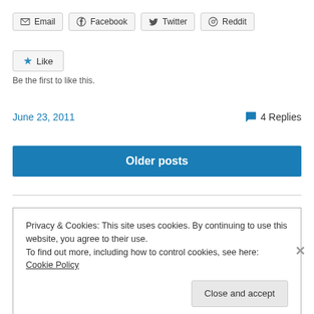[Figure (other): Social share buttons: Email, Facebook, Twitter, Reddit]
[Figure (other): Like button with star icon]
Be the first to like this.
June 23, 2011
4 Replies
[Figure (other): Older posts navigation button]
Privacy & Cookies: This site uses cookies. By continuing to use this website, you agree to their use.
To find out more, including how to control cookies, see here: Cookie Policy
Close and accept